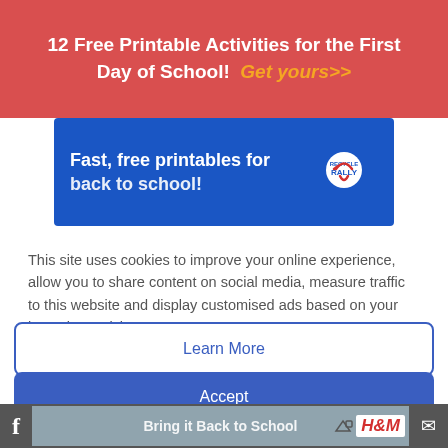12 Free Printable Activities for the First Day of School! Get yours>>
[Figure (screenshot): Blue Recycle Rally advertisement banner: 'Fast, free printables for back to school!']
This site uses cookies to improve your online experience, allow you to share content on social media, measure traffic to this website and display customised ads based on your browsing activity.
Learn More
Accept
11. Rockland Luggage Rolling
[Figure (screenshot): H&M 'Bring it Back to School' advertisement banner at the bottom of the page]
Bring it Back to School